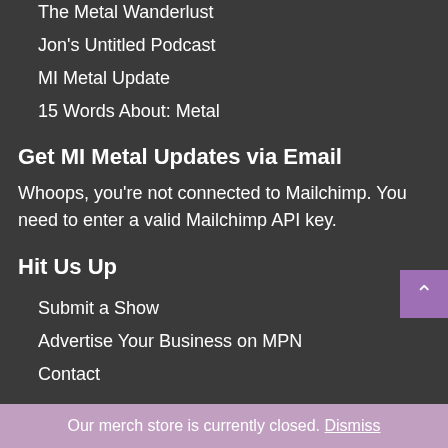The Metal Wanderlust
Jon's Untitled Podcast
MI Metal Update
15 Words About: Metal
Get MI Metal Updates via Email
Whoops, you're not connected to Mailchimp. You need to enter a valid Mailchimp API key.
Hit Us Up
Submit a Show
Advertise Your Business on MPN
Contact
Our merch store is currently closed. Dismiss